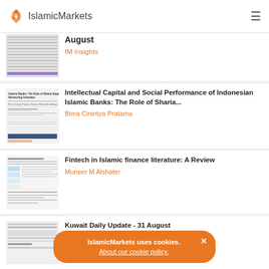IslamicMarkets
[Figure (screenshot): Thumbnail of a financial data table document]
August
IM Insights
[Figure (screenshot): Thumbnail of academic paper: Islamic Banks: The Role of Sharia Supervisory Boards Monitoring Activities]
Intellectual Capital and Social Performance of Indonesian Islamic Banks: The Role of Sharia...
Bima Cinintya Pratama
[Figure (screenshot): Thumbnail of academic paper on Fintech in Islamic finance]
Fintech in Islamic finance literature: A Review
Muneer M Alshater
[Figure (screenshot): Thumbnail of Kuwait Daily Update document]
Kuwait Daily Update - 31 August
IslamicMarkets uses cookies. About our cookie policy.